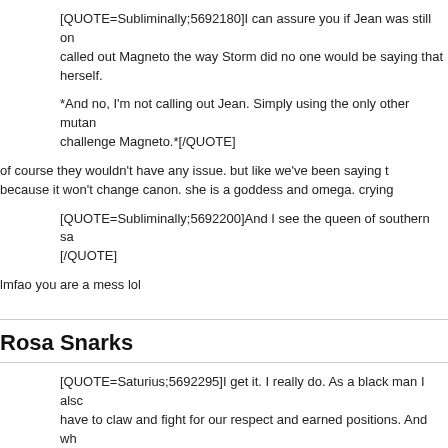[QUOTE=Subliminally;5692180]I can assure you if Jean was still on called out Magneto the way Storm did no one would be saying that herself.
*And no, I'm not calling out Jean. Simply using the only other mutan challenge Magneto.*[/QUOTE]
of course they wouldn't have any issue. but like we've been saying because it won't change canon. she is a goddess and omega. cryin
[QUOTE=Subliminally;5692200]And I see the queen of southern sa [/QUOTE]
lmfao you are a mess lol
Rosa Snarks
[QUOTE=Saturius;5692295]I get it. I really do. As a black man I alsc have to claw and fight for our respect and earned positions. And wh call out something or fight injustice, the opposition now gets to use being too "woke" as a way of making you look crazy and unreasona me that Storm often has the target for criticism that many other char Sorry, I do respect others opinions, but I don't know what some were to Storm checking Magneto. Just bizzare.[/QUOTE]